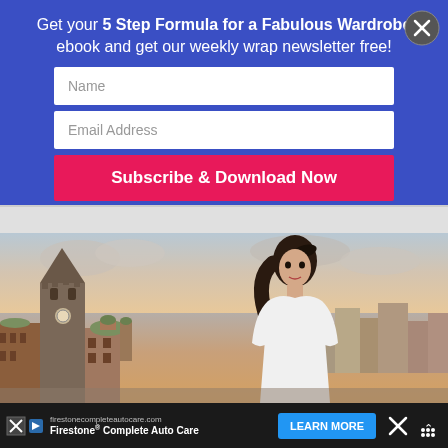Get your 5 Step Formula for a Fabulous Wardrobe ebook and get our weekly wrap newsletter free!
[Figure (screenshot): Form with Name field, Email Address field, and Subscribe & Download Now button on a blue background with a close (X) button]
[Figure (photo): Fashion model woman with long dark hair wearing a white dress, standing in front of an old European city skyline with a clock tower]
[Figure (screenshot): Advertisement bar at bottom: firestonecompleteautocare.com - Firestone Complete Auto Care with Learn More button and close/menu icons]